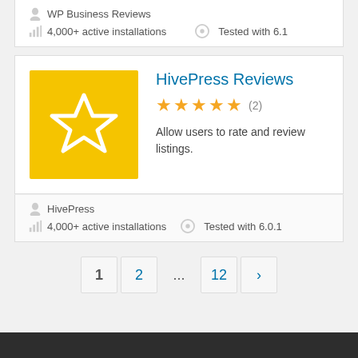WP Business Reviews
4,000+ active installations   Tested with 6.1
HivePress Reviews
★★★★★ (2)
Allow users to rate and review listings.
HivePress
4,000+ active installations   Tested with 6.0.1
1  2  ...  12  ›